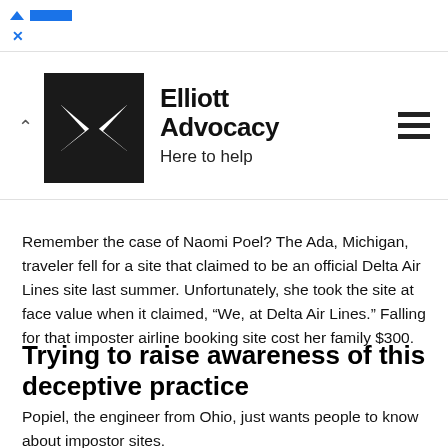[Figure (logo): Ad bar with blue triangle and blue rectangle advertising icon, with an X close button below]
Elliott Advocacy
Here to help
Remember the case of Naomi Poel? The Ada, Michigan, traveler fell for a site that claimed to be an official Delta Air Lines site last summer. Unfortunately, she took the site at face value when it claimed, “We, at Delta Air Lines.” Falling for that imposter airline booking site cost her family $300.
Trying to raise awareness of this deceptive practice
Popiel, the engineer from Ohio, just wants people to know about impostor sites.